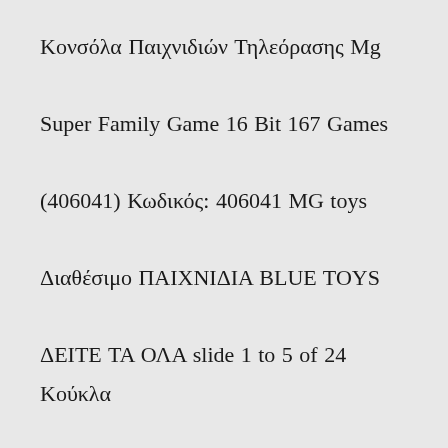Κονσόλα Παιχνιδιών Τηλεόρασης Mg Super Family Game 16 Bit 167 Games (406041) Κωδικός: 406041 MG toys Διαθέσιμο ΠΑΙΧΝΙΔΙΑ BLUE TOYS ΔΕΙΤΕ ΤΑ ΟΛΑ slide 1 to 5 of 24 Κούκλα Μωρό Πίνω Και Κάνω Πιπί 7εκ (MKL413537)MG Collectibles & Toys Scooby-Doo - Fred and Daphne 1/6 Scale Statue. Pre-Order from $75.00. Scooby-Doo - Fred and Daphne 1/6 Scale Statue.